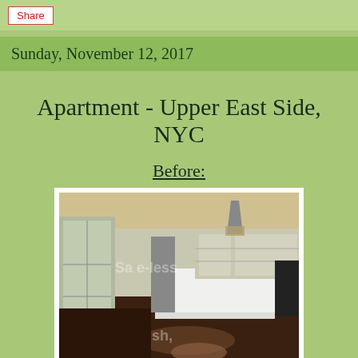Share
Sunday, November 12, 2017
Apartment - Upper East Side, NYC
Before:
[Figure (photo): Interior photo of an apartment showing an open-plan living/kitchen area with dark hardwood floors, white kitchen island, glass partition door on the left, shelving units in the background, and a pendant light over the kitchen area.]